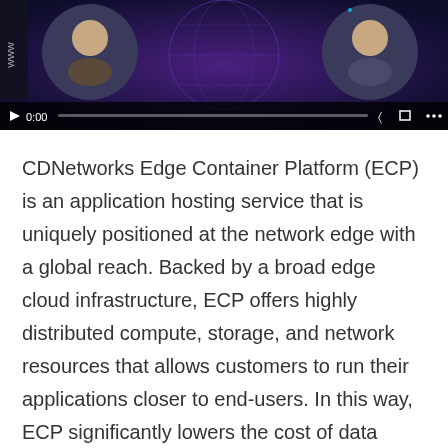[Figure (screenshot): Video player thumbnail showing two animated characters against a dark purple/blue background with network globe imagery. Video controls bar at bottom showing play button, timestamp 0:00, progress bar, volume and fullscreen icons.]
CDNetworks Edge Container Platform (ECP) is an application hosting service that is uniquely positioned at the network edge with a global reach. Backed by a broad edge cloud infrastructure, ECP offers highly distributed compute, storage, and network resources that allows customers to run their applications closer to end-users. In this way, ECP significantly lowers the cost of data transport, reduces latency, and helps address data residency challenges.
ECP is an edge computing service built upon